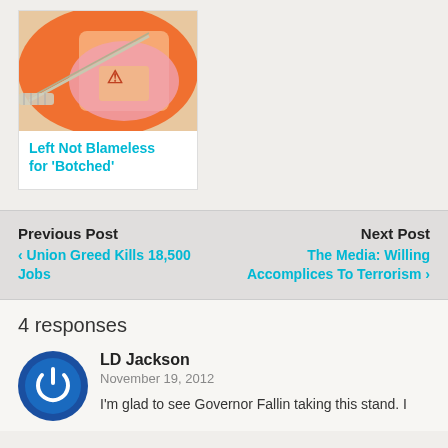[Figure (photo): A syringe needle inserted into an orange-capped medical vial, close-up photo]
Left Not Blameless for 'Botched'
Previous Post
‹ Union Greed Kills 18,500 Jobs
Next Post
The Media: Willing Accomplices To Terrorism ›
4 responses
LD Jackson
November 19, 2012
I'm glad to see Governor Fallin taking this stand. I